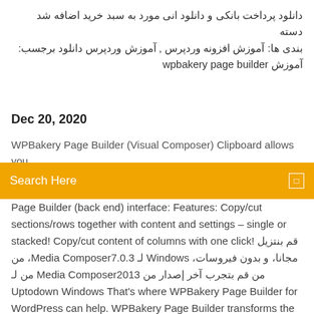دانلود پرداخت بانکی و دانلود انی مورد به سبد خرید اضافه شد دسته بندی ها: آموزش افزونه وردپرس , آموزش وردپرس دانلود برجسب: آموزش wpbakery page builder
Dec 20, 2020
WPBakery Page Builder (Visual Composer) Clipboard allows you
Search Here
Page Builder (back end) interface: Features: Copy/cut sections/rows together with content and settings – single or stacked! Copy/cut content of columns with one click! قم بنتزيل من ،Media Composer7.0.3 لـ Windows مجانا، و بدون فيروسات، من Uptodown .لـ Media Composer2013 من قم بتجرب آخر إصدار من Windows That's where WPBakery Page Builder for WordPress can help. WPBakery Page Builder transforms the default WordPress page editor into a robust feature-rich editor that allows you to add columns, image galleries, accordions, tour sections, call-to-action buttons, videos, and much more." –